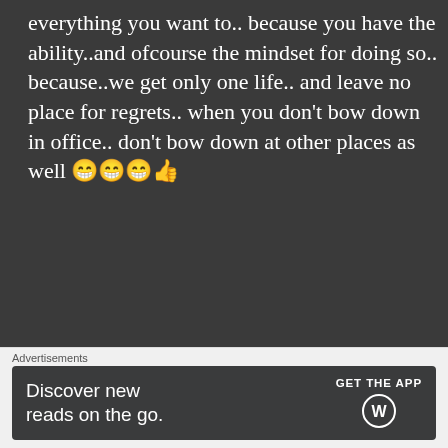everything you want to.. because you have the ability..and ofcourse the mindset for doing so.. because..we get only one life.. and leave no place for regrets.. when you don't bow down in office.. don't bow down at other places as well 😁😁😁👍
★ Liked by 1 person
THE BOLD GIRL says:
Sep 5, 2020 at 11:00 PM
Advertisements
Discover new reads on the go. GET THE APP